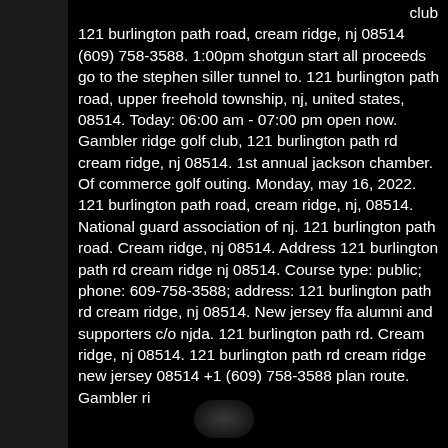club 121 burlington path road, cream ridge, nj 08514 (609) 758-3588. 1:00pm shotgun start all proceeds go to the stephen siller tunnel to. 121 burlington path road, upper freehold township, nj, united states, 08514. Today: 06:00 am - 07:00 pm open now. Gambler ridge golf club, 121 burlington path rd cream ridge, nj 08514. 1st annual jackson chamber. Of commerce golf outing. Monday, may 16, 2022. 121 burlington path road, cream ridge, nj, 08514. National guard association of nj. 121 burlington path road. Cream ridge, nj 08514. Address 121 burlington path rd cream ridge nj 08514. Course type: public; phone: 609-758-3588; address: 121 burlington path rd cream ridge, nj 08514. New jersey ffa alumni and supporters c/o njda. 121 burlington path rd. Cream ridge, nj 08514. 121 burlington path rd cream ridge new jersey 08514 +1 (609) 758-3588 plan route. Gambler ri... 121